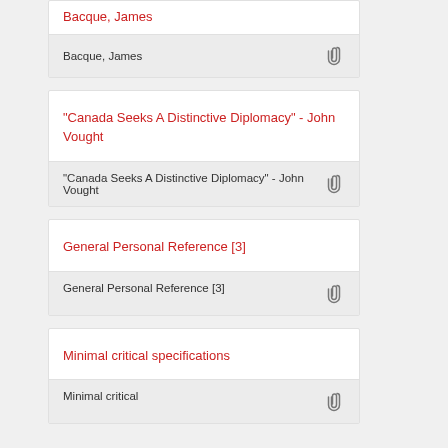Bacque, James
"Canada Seeks A Distinctive Diplomacy" - John Vought
General Personal Reference [3]
Minimal critical specifications